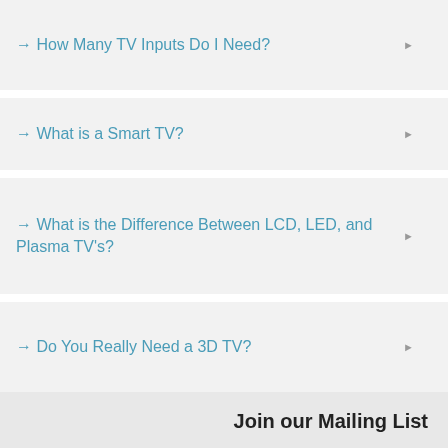→ How Many TV Inputs Do I Need?
→ What is a Smart TV?
→ What is the Difference Between LCD, LED, and Plasma TV's?
→ Do You Really Need a 3D TV?
→ What on Earth is a 4K TV?
Join our Mailing List